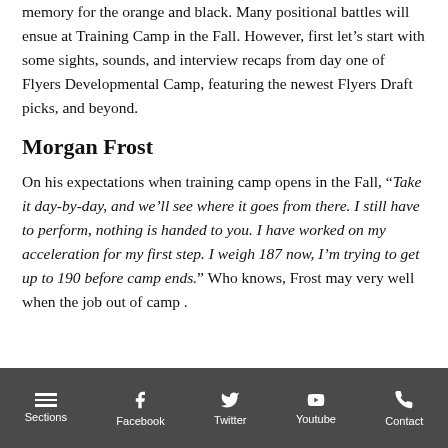memory for the orange and black. Many positional battles will ensue at Training Camp in the Fall. However, first let’s start with some sights, sounds, and interview recaps from day one of Flyers Developmental Camp, featuring the newest Flyers Draft picks, and beyond.
Morgan Frost
On his expectations when training camp opens in the Fall, “Take it day-by-day, and we’ll see where it goes from there. I still have to perform, nothing is handed to you. I have worked on my acceleration for my first step. I weigh 187 now, I’m trying to get up to 190 before camp ends.” Who knows, Frost may very well when the job out of camp .
Sections  Facebook  Twitter  Youtube  Contact